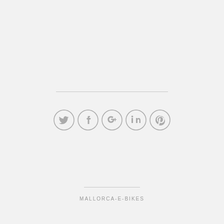[Figure (infographic): Five social media icon circles in gray: Twitter, Facebook, Google+, LinkedIn, Pinterest]
MALLORCA-E-BIKES